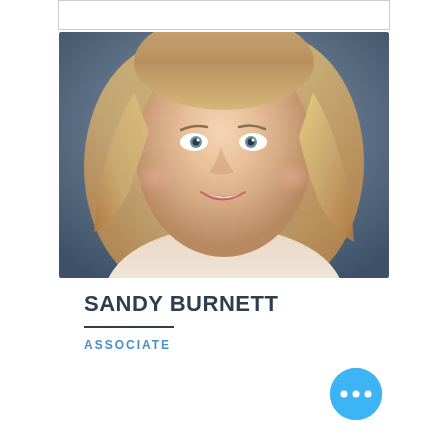[Figure (photo): Headshot photo of Sandy Burnett, a woman with shoulder-length blonde hair, smiling, on a grey background]
SANDY BURNETT
ASSOCIATE